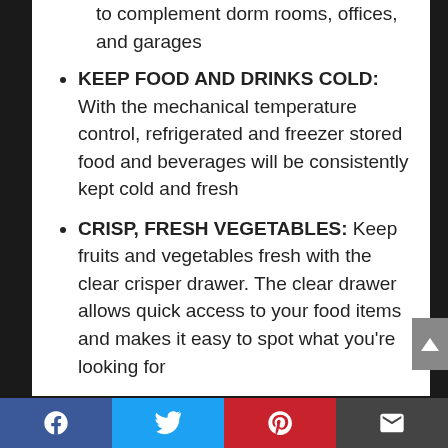to complement dorm rooms, offices, and garages
KEEP FOOD AND DRINKS COLD: With the mechanical temperature control, refrigerated and freezer stored food and beverages will be consistently kept cold and fresh
CRISP, FRESH VEGETABLES: Keep fruits and vegetables fresh with the clear crisper drawer. The clear drawer allows quick access to your food items and makes it easy to spot what you're looking for
STURDY SHELVING: 3 wire shelving racks makes storing awkward food